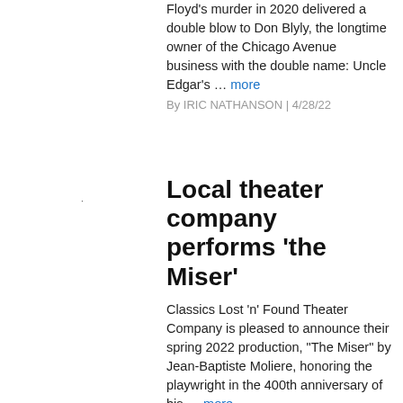Floyd's murder in 2020 delivered a double blow to Don Blyly, the longtime owner of the Chicago Avenue business with the double name: Uncle Edgar's … more
By IRIC NATHANSON | 4/28/22
Local theater company performs 'the Miser'
Classics Lost 'n' Found Theater Company is pleased to announce their spring 2022 production, "The Miser" by Jean-Baptiste Moliere, honoring the playwright in the 400th anniversary of his … more